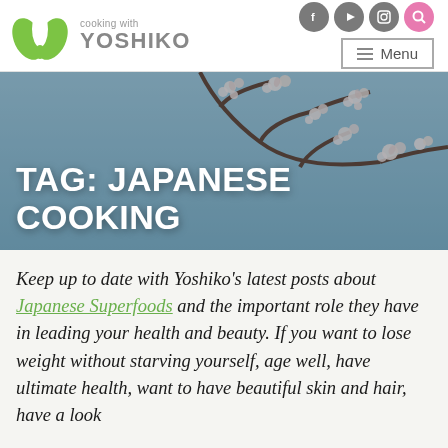[Figure (logo): Cooking with Yoshiko logo — green leaf Y mark with text 'cooking with YOSHIKO']
[Figure (screenshot): Website header with social icons (Facebook, YouTube, Instagram, Search) and Menu button]
[Figure (photo): Cherry blossom branch photo used as hero banner background]
TAG: JAPANESE COOKING
Keep up to date with Yoshiko's latest posts about Japanese Superfoods and the important role they have in leading your health and beauty. If you want to lose weight without starving yourself, age well, have ultimate health, want to have beautiful skin and hair, have a look